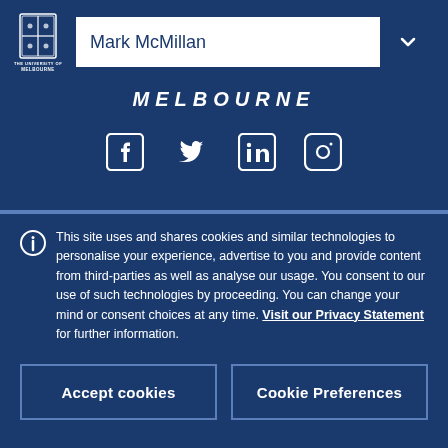[Figure (logo): University of Melbourne crest logo in white on dark blue background]
Mark McMillan
MELBOURNE
[Figure (infographic): Social media icons: Facebook, Twitter, LinkedIn, Instagram in white]
This site uses and shares cookies and similar technologies to personalise your experience, advertise to you and provide content from third-parties as well as analyse our usage. You consent to our use of such technologies by proceeding. You can change your mind or consent choices at any time. Visit our Privacy Statement for further information.
Accept cookies
Cookie Preferences